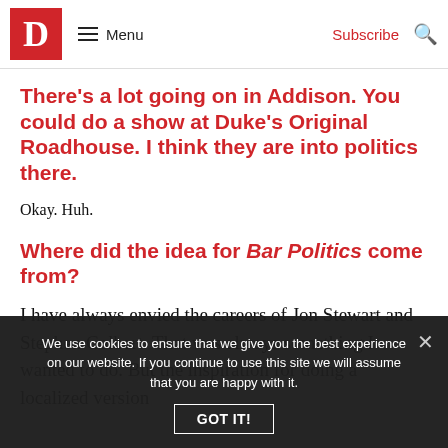D  Menu  Subscribe
There's a lot going on in Addison. You could do a show at Duke's Original Roadhouse. I think they are into politics there.
Okay. Huh.
Where did the idea for Bar Politics come from?
I have always envied the careers of Jon Stewart and Stephen Colbert. That was always something I wanted to do. But the inspiration for doing a localized version
We use cookies to ensure that we give you the best experience on our website. If you continue to use this site we will assume that you are happy with it.
GOT IT!